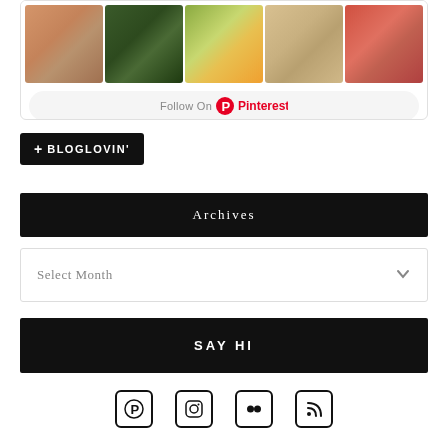[Figure (screenshot): Pinterest widget showing food photos grid with Follow On Pinterest button]
[Figure (logo): Bloglovin follow button with plus icon and BLOGLOVIN' text on black background]
Archives
Select Month
SAY HI
[Figure (infographic): Social media icons: Pinterest, Instagram, Flickr, RSS feed]